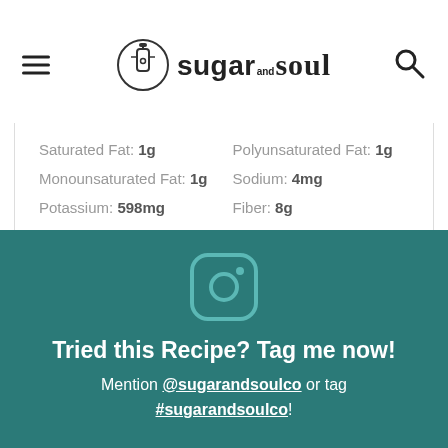sugar and soul
| Saturated Fat: 1g | Polyunsaturated Fat: 1g |
| Monounsaturated Fat: 1g | Sodium: 4mg |
| Potassium: 598mg | Fiber: 8g |
| Sugar: 52g | Vitamin A: 47IU |
| Vitamin C: 230mg | Calcium: 62mg |
| Iron: 2mg |  |
[Figure (logo): Instagram icon in teal/white]
Tried this Recipe? Tag me now!
Mention @sugarandsoulco or tag #sugarandsoulco!